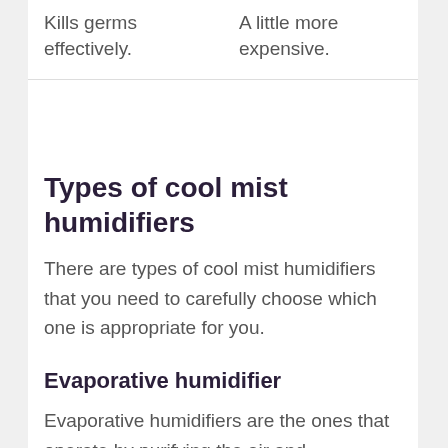| Kills germs effectively. | A little more expensive. |
Types of cool mist humidifiers
There are types of cool mist humidifiers that you need to carefully choose which one is appropriate for you.
Evaporative humidifier
Evaporative humidifiers are the ones that operate by purifying the air and…